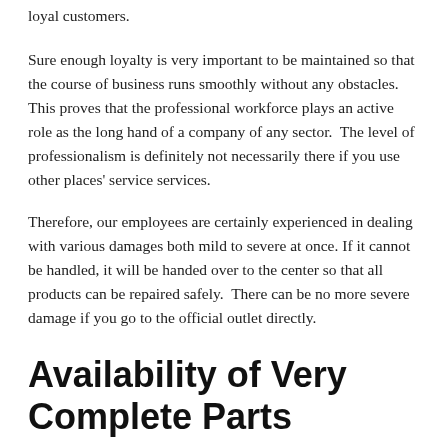loyal customers.
Sure enough loyalty is very important to be maintained so that the course of business runs smoothly without any obstacles. This proves that the professional workforce plays an active role as the long hand of a company of any sector.  The level of professionalism is definitely not necessarily there if you use other places' service services.
Therefore, our employees are certainly experienced in dealing with various damages both mild to severe at once. If it cannot be handled, it will be handed over to the center so that all products can be repaired safely.  There can be no more severe damage if you go to the official outlet directly.
Availability of Very Complete Parts
The next interesting thing is that as long as it has not provided service, the service center has provided complete information for customers. That happens when you have contacted at the beginning before going to the store.  This is considered to be an advantage that